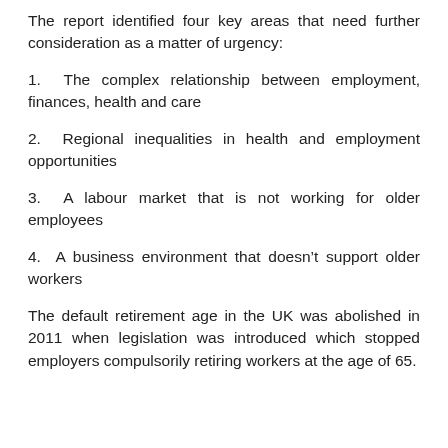The report identified four key areas that need further consideration as a matter of urgency:
1.  The complex relationship between employment, finances, health and care
2.  Regional inequalities in health and employment opportunities
3.  A labour market that is not working for older employees
4.  A business environment that doesn’t support older workers
The default retirement age in the UK was abolished in 2011 when legislation was introduced which stopped employers compulsorily retiring workers at the age of 65.